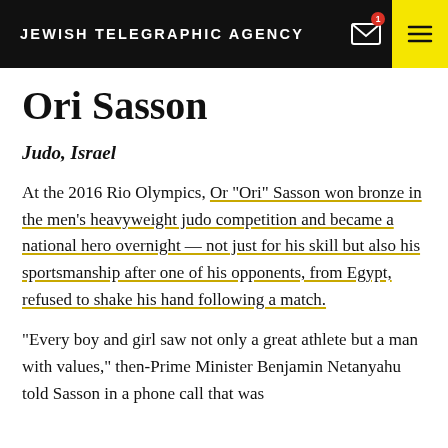JEWISH TELEGRAPHIC AGENCY
Ori Sasson
Judo, Israel
At the 2016 Rio Olympics, Or “Ori” Sasson won bronze in the men’s heavyweight judo competition and became a national hero overnight — not just for his skill but also his sportsmanship after one of his opponents, from Egypt, refused to shake his hand following a match.
“Every boy and girl saw not only a great athlete but a man with values,” then-Prime Minister Benjamin Netanyahu told Sasson in a phone call that was